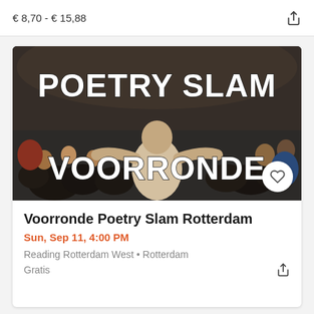€ 8,70 - € 15,88
[Figure (photo): Photo of a poetry slam event showing a performer from behind facing a large seated crowd in a library/hall setting, with bold white text overlaid reading 'POETRY SLAM VOORRONDE']
Voorronde Poetry Slam Rotterdam
Sun, Sep 11, 4:00 PM
Reading Rotterdam West • Rotterdam
Gratis